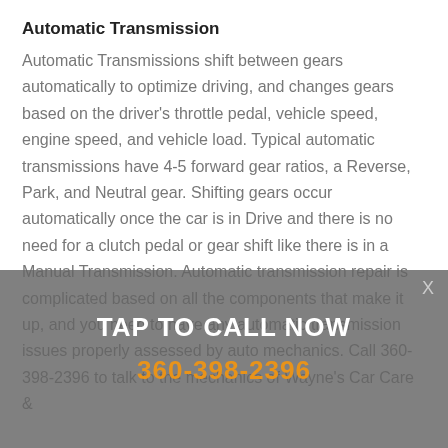Automatic Transmission
Automatic Transmissions shift between gears automatically to optimize driving, and changes gears based on the driver's throttle pedal, vehicle speed, engine speed, and vehicle load. Typical automatic transmissions have 4-5 forward gear ratios, a Reverse, Park, and Neutral gear. Shifting gears occur automatically once the car is in Drive and there is no need for a clutch pedal or gear shift like there is in a Manual Transmission. Automatic transmission repair is complicated based on all the components that make it up, and you need to have any automatic transmission issues properly assessed by auto mechanics. Call 360-398-2396 to talk to the mechanics of Wayne's Car Care &
TAP TO CALL NOW
360-398-2396
X